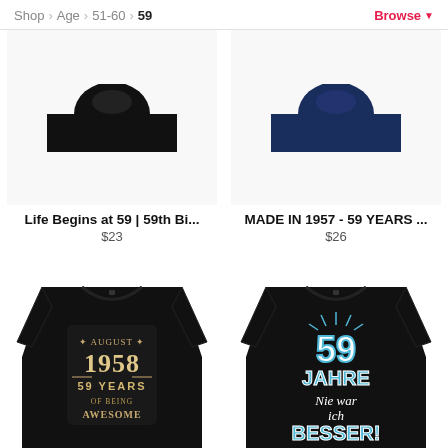Shop > Age > 51-60 > 59   Browse
[Figure (photo): Top portion of black t-shirt (cropped)]
[Figure (photo): Top portion of navy t-shirt (cropped)]
Life Begins at 59 | 59th Bi...
$23
MADE IN 1957 - 59 YEARS ...
$26
[Figure (photo): Black t-shirt with 'AUGUST 1958 59 YEARS OF BEING AWESOME' vintage graphic design]
[Figure (photo): Black t-shirt with '59 JAHRE Nie war ich BESSER!' text in blue and white with starburst design]
AUGUST59
59 Jahre Geburtstag Ge...